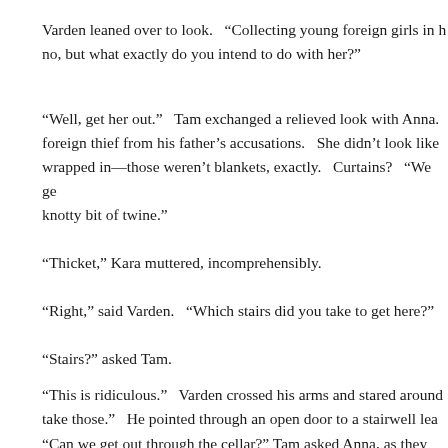Varden leaned over to look.  “Collecting young foreign girls in h no, but what exactly do you intend to do with her?”
“Well, get her out.”  Tam exchanged a relieved look with Anna. foreign thief from his father’s accusations.  She didn’t look like wrapped in—those weren’t blankets, exactly.  Curtains?  “We ge knotty bit of twine.”
“Thicket,” Kara muttered, incomprehensibly.
“Right,” said Varden.  “Which stairs did you take to get here?”
“Stairs?” asked Tam.
“This is ridiculous.”  Varden crossed his arms and stared around take those.”  He pointed through an open door to a stairwell lea
“Can we get out through the cellar?” Tam asked Anna, as they